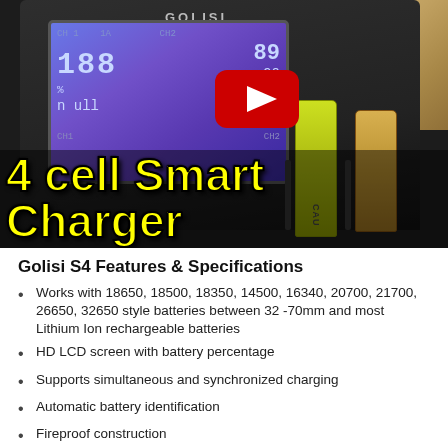[Figure (photo): Photo of a Golisi S4 4-cell smart battery charger with LCD display showing charge percentages and stats, yellow and gold cylindrical batteries inserted, with a YouTube play button overlay. Text '4 cell Smart Charger' in yellow Impact font at bottom of image.]
Golisi S4 Features & Specifications
Works with 18650, 18500, 18350, 14500, 16340, 20700, 21700, 26650, 32650 style batteries between 32 -70mm and most Lithium Ion rechargeable batteries
HD LCD screen with battery percentage
Supports simultaneous and synchronized charging
Automatic battery identification
Fireproof construction